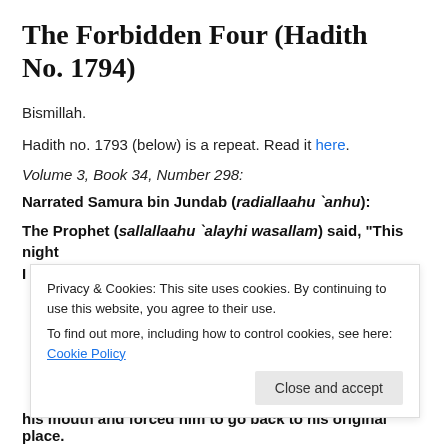The Forbidden Four (Hadith No. 1794)
Bismillah.
Hadith no. 1793 (below) is a repeat. Read it here.
Volume 3, Book 34, Number 298:
Narrated Samura bin Jundab (radiallaahu `anhu):
The Prophet (sallallaahu `alayhi wasallam) said, “This night I dreamt that two men came and took me to a Holy land
Privacy & Cookies: This site uses cookies. By continuing to use this website, you agree to their use.
To find out more, including how to control cookies, see here: Cookie Policy
his mouth and forced him to go back to his original place.